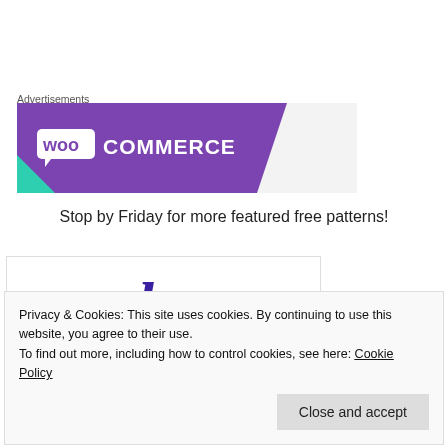Advertisements
[Figure (logo): WooCommerce logo on purple banner with teal corner accent]
Stop by Friday for more featured free patterns!
[Figure (screenshot): Partial preview of a page with decorative script text in purple]
Privacy & Cookies: This site uses cookies. By continuing to use this website, you agree to their use.
To find out more, including how to control cookies, see here: Cookie Policy
Close and accept